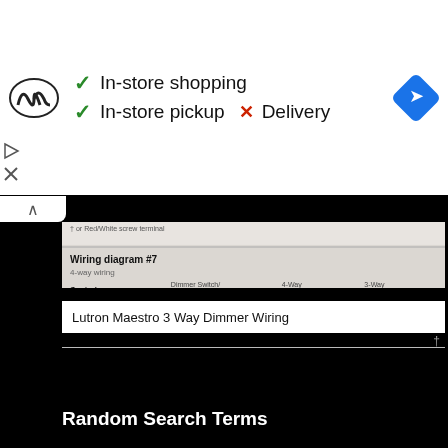[Figure (infographic): Under Armour store info banner showing: checkmark In-store shopping, checkmark In-store pickup, X Delivery, with blue navigation diamond icon on right]
[Figure (schematic): Wiring diagram #7, 4-way wiring for Lutron Maestro dimmer. Shows Dimmer Switch/Fan Control, 4-Way Switch, and 3-Way Switch connected to Lighting Load or Fan. Includes Control Line Side and Control Load Side labels, footnotes for screw terminal types.]
Lutron Maestro 3 Way Dimmer Wiring
Random Search Terms